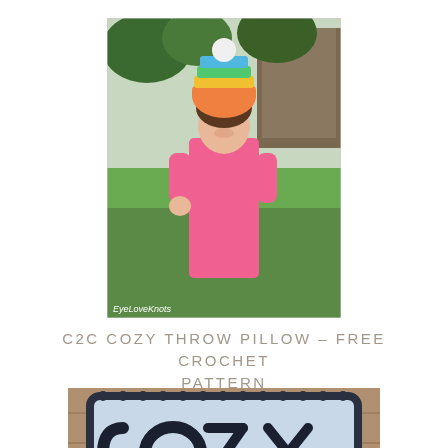[Figure (photo): A young girl wearing a colorful crochet hat with a white pom-pom, dressed in a pink long-sleeve dress, posing outdoors on green grass with a barn in the background. Watermark reads 'EyeLoveKnots'.]
C2C COZY THROW PILLOW – FREE CROCHET PATTERN
[Figure (photo): Close-up of a light blue crocheted throw pillow with dark navy/black borders and the word 'COZY' written in dark yarn letters, placed on a wooden surface.]